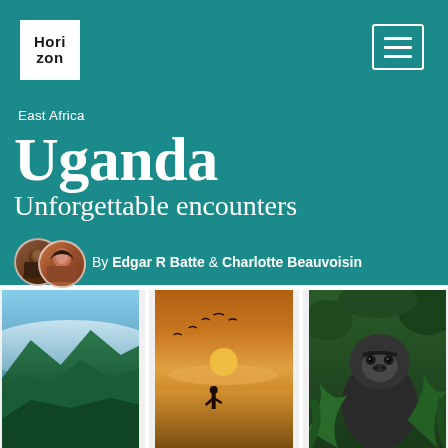[Figure (logo): Horizon magazine logo - white box with bold text 'Hori Zon']
[Figure (illustration): Hamburger menu icon - three horizontal lines in a rounded rectangle border]
East Africa
Uganda
Unforgettable encounters
By Edgar R Batte & Charlotte Beauvoisin
[Figure (photo): Three photos side by side: aerial green mountain landscape, person silhouette on lake at sunset, mountain gorilla in jungle foliage]